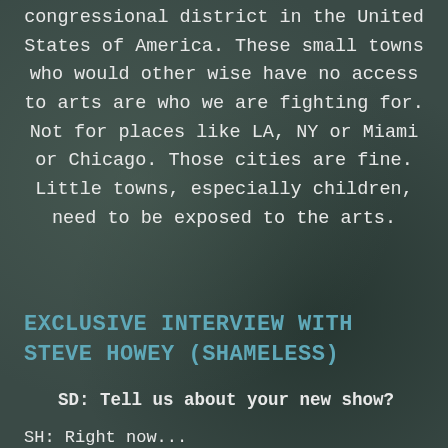congressional district in the United States of America. These small towns who would other wise have no access to arts are who we are fighting for. Not for places like LA, NY or Miami or Chicago. Those cities are fine. Little towns, especially children, need to be exposed to the arts.
EXCLUSIVE INTERVIEW WITH STEVE HOWEY (SHAMELESS)
SD: Tell us about your new show?
SH: Right now...